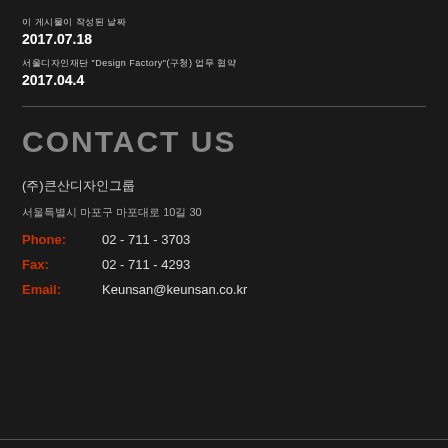이 게시물이 작성된 날짜
2017.07.18
서울디자인재단 "Design Factory"(구청) 업무 협약
2017.04.4
CONTACT US
(주)큰산디자인그룹
서울특별시 마포구 마포대로 10길 30
Phone: 02 - 711 - 3703
Fax: 02 - 711 - 4293
Email: Keunsan@keunsan.co.kr